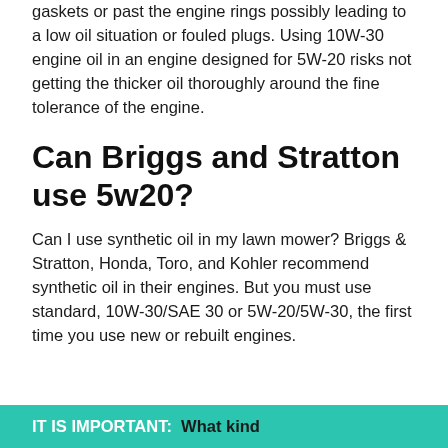gaskets or past the engine rings possibly leading to a low oil situation or fouled plugs. Using 10W-30 engine oil in an engine designed for 5W-20 risks not getting the thicker oil thoroughly around the fine tolerance of the engine.
Can Briggs and Stratton use 5w20?
Can I use synthetic oil in my lawn mower? Briggs & Stratton, Honda, Toro, and Kohler recommend synthetic oil in their engines. But you must use standard, 10W-30/SAE 30 or 5W-20/5W-30, the first time you use new or rebuilt engines.
IT IS IMPORTANT:  What kind